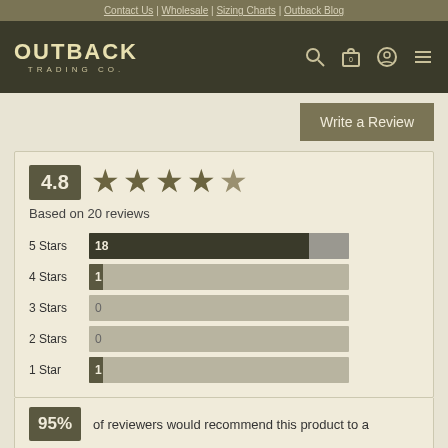Contact Us | Wholesale | Sizing Charts | Outback Blog
[Figure (logo): Outback Trading Co. logo with navigation icons (search, cart, user, menu)]
Write a Review
[Figure (infographic): Rating summary showing 4.8 out of 5 stars based on 20 reviews, with bar chart breakdown: 5 Stars 18, 4 Stars 1, 3 Stars 0, 2 Stars 0, 1 Star 1]
Based on 20 reviews
95% of reviewers would recommend this product to a